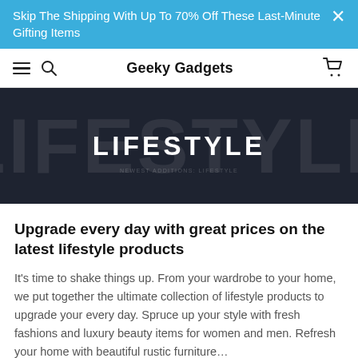Skip The Shipping With Up To 70% Off These Last-Minute Gifting Items
Geeky Gadgets
[Figure (screenshot): Dark hero banner with large watermark text 'LIFESTYLE' in background and bold white text 'LIFESTYLE' centered in foreground, on a dark navy background]
Upgrade every day with great prices on the latest lifestyle products
It's time to shake things up. From your wardrobe to your home, we put together the ultimate collection of lifestyle products to upgrade your every day. Spruce up your style with fresh fashions and luxury beauty items for women and men. Refresh your home with beautiful rustic furniture...